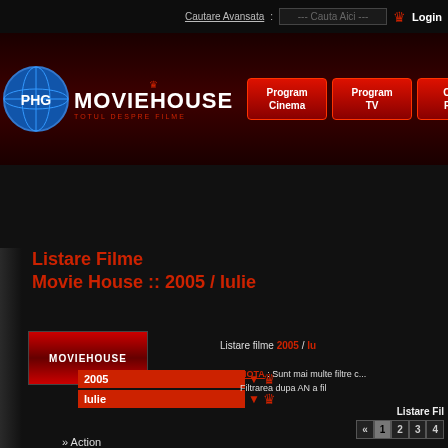Cautare Avansata : --- Cauta Aici --- Login
[Figure (screenshot): MovieHouse website header banner with PHG globe logo, MovieHouse logo with crown, subtitle TOTUL DESPRE FILME, and three red navigation buttons: Program Cinema, Program TV, Cauta Filme]
Listare Filme
Movie House :: 2005 / Iulie
[Figure (logo): Small MovieHouse red logo thumbnail]
Listare filme 2005 / Iu
NOTA : Sunt mai multe filtre c... Filtrarea dupa AN a fil
Listare Fil
« 1 2 3 4
» Action